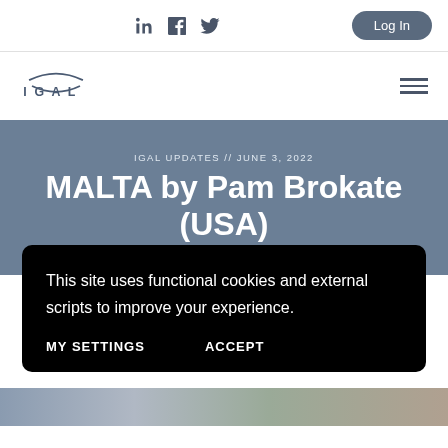Social icons: LinkedIn, Facebook, Twitter | Log In button
[Figure (logo): IGAL logo with stylized arc above the text]
IGAL UPDATES // JUNE 3, 2022
MALTA by Pam Brokate (USA)
This site uses functional cookies and external scripts to improve your experience.
MY SETTINGS   ACCEPT
[Figure (photo): Photo strip of people at bottom of page]